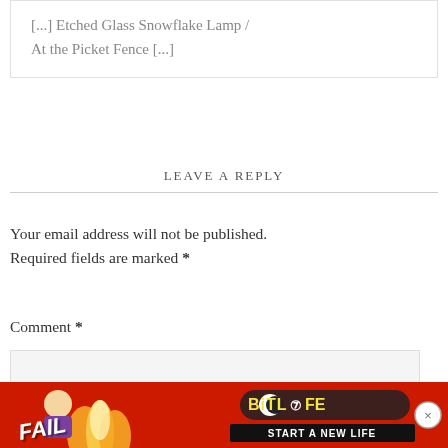[...] Etched Glass Snowflake Lamp / At the Picket Fence [...]
LEAVE A REPLY
Your email address will not be published. Required fields are marked *
Comment *
[Figure (screenshot): Advertisement banner for BitLife mobile game with red/flame background, FAIL text, cartoon character, BitLife logo and 'START A NEW LIFE' tagline]